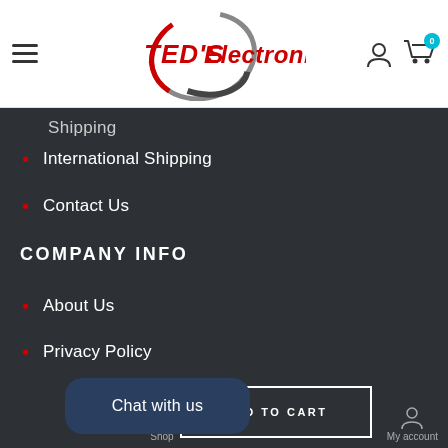[Figure (logo): TED'S Electronics logo with circular swoosh design and red bold text on white header background with hamburger menu, user icon, and cart icon with badge showing 0]
Shipping (partial)
International Shipping
Contact Us
COMPANY INFO
About Us
Privacy Policy
Terms of use
Chat with us
ADD TO CART
My account